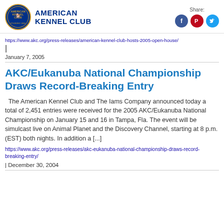[Figure (logo): American Kennel Club logo with circular emblem and text 'AMERICAN KENNEL CLUB']
[Figure (infographic): Share label with Facebook, Pinterest, and Twitter social media icons]
https://www.akc.org/press-releases/american-kennel-club-hosts-2005-open-house/ |
January 7, 2005
AKC/Eukanuba National Championship Draws Record-Breaking Entry
The American Kennel Club and The Iams Company announced today a total of 2,451 entries were received for the 2005 AKC/Eukanuba National Championship on January 15 and 16 in Tampa, Fla. The event will be simulcast live on Animal Planet and the Discovery Channel, starting at 8 p.m. (EST) both nights. In addition a [...]
https://www.akc.org/press-releases/akc-eukanuba-national-championship-draws-record-breaking-entry/
| December 30, 2004